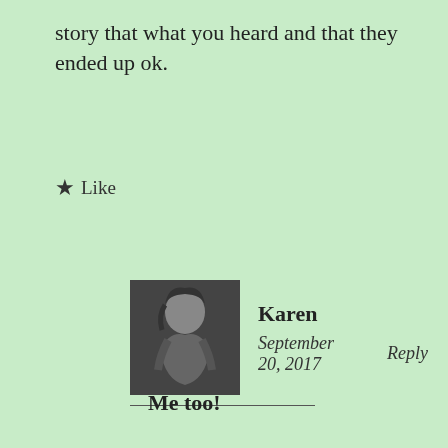story that what you heard and that they ended up ok.
★ Like
Karen
September 20, 2017   Reply
Me too!
★ Like
Katchutravels (@Katchutravels)